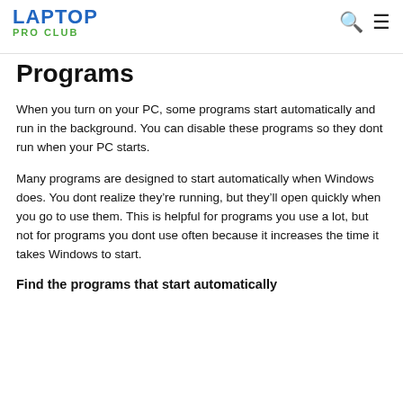LAPTOP PRO CLUB
Programs
When you turn on your PC, some programs start automatically and run in the background. You can disable these programs so they dont run when your PC starts.
Many programs are designed to start automatically when Windows does. You dont realize they're running, but they'll open quickly when you go to use them. This is helpful for programs you use a lot, but not for programs you dont use often because it increases the time it takes Windows to start.
Find the programs that start automatically